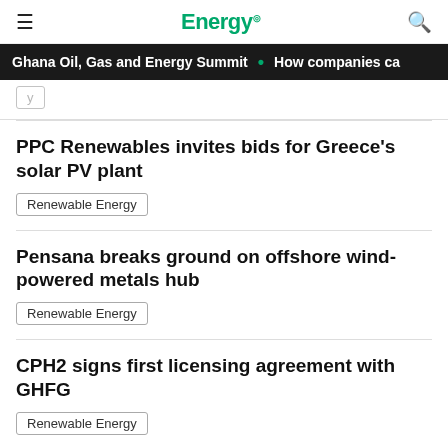Energy.
Ghana Oil, Gas and Energy Summit • How companies ca
PPC Renewables invites bids for Greece's solar PV plant
Renewable Energy
Pensana breaks ground on offshore wind-powered metals hub
Renewable Energy
CPH2 signs first licensing agreement with GHFG
Renewable Energy